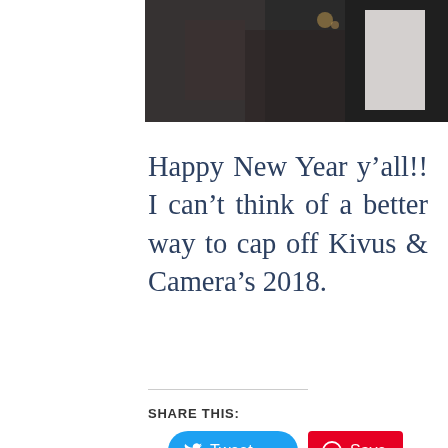[Figure (photo): Partial view of a photo showing people at what appears to be a celebration or party, dark background with figures visible]
Happy New Year y’all!! I can’t think of a better way to cap off Kivus & Camera’s 2018.
SHARE THIS:
Tweet
Save
Email
Print